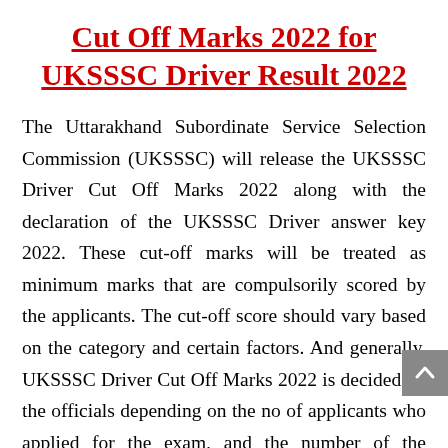Cut Off Marks 2022 for UKSSSC Driver Result 2022
The Uttarakhand Subordinate Service Selection Commission (UKSSSC) will release the UKSSSC Driver Cut Off Marks 2022 along with the declaration of the UKSSSC Driver answer key 2022. These cut-off marks will be treated as minimum marks that are compulsorily scored by the applicants. The cut-off score should vary based on the category and certain factors. And generally, UKSSSC Driver Cut Off Marks 2022 is decided by the officials depending on the no of applicants who applied for the exam, and the number of the applicants who appeared for the exam. we will